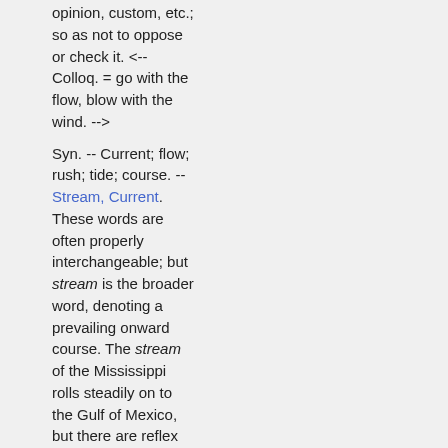opinion, custom, etc.; so as not to oppose or check it. <-- Colloq. = go with the flow, blow with the wind. -->
Syn. -- Current; flow; rush; tide; course. -- Stream, Current. These words are often properly interchangeable; but stream is the broader word, denoting a prevailing onward course. The stream of the Mississippi rolls steadily on to the Gulf of Mexico, but there are reflex currents in it which run for a while in a contrary direction.
© Webster 1913.
Stream, v. i. [imp. & p. p. Streamed (?); p. pr. & vb. n. Streaming.]